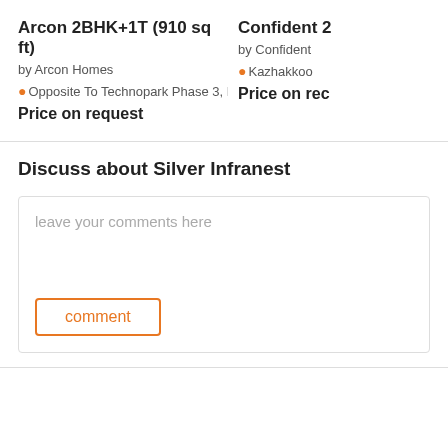Arcon 2BHK+1T (910 sq ft)
by Arcon Homes
Opposite To Technopark Phase 3, Kulathoor
Price on request
Confident 2
by Confident
Kazhakkoo
Price on rec
Discuss about Silver Infranest
leave your comments here
comment